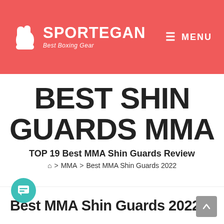SPORTEGAN Best Boxing Gear — MENU
BEST SHIN GUARDS MMA
TOP 19 Best MMA Shin Guards Review
🏠 > MMA > Best MMA Shin Guards 2022
Best MMA Shin Guards 2022